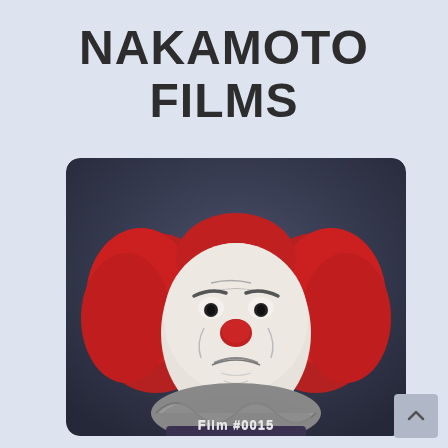NAKAMOTO FILMS
[Figure (illustration): Illustration of a sad clown character with red curly hair, white face paint, red nose, and grey ruffled collar costume, on a dark blue-grey background. Partial caption at bottom reads 'Film #0015']
Film #0015